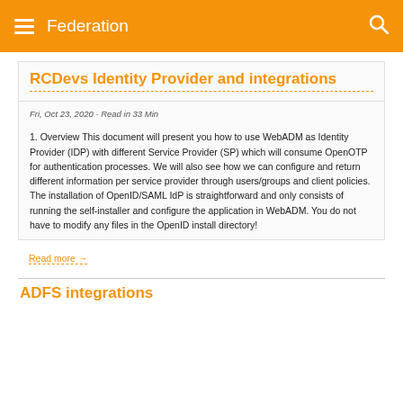Federation
RCDevs Identity Provider and integrations
Fri, Oct 23, 2020 - Read in 33 Min
1. Overview This document will present you how to use WebADM as Identity Provider (IDP) with different Service Provider (SP) which will consume OpenOTP for authentication processes. We will also see how we can configure and return different information per service provider through users/groups and client policies. The installation of OpenID/SAML IdP is straightforward and only consists of running the self-installer and configure the application in WebADM. You do not have to modify any files in the OpenID install directory!
Read more →
ADFS integrations